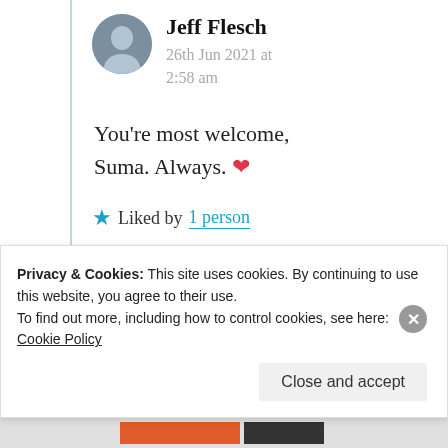Jeff Flesch
26th Jun 2021 at 2:58 am
You’re most welcome, Suma. Always. ❤️
★ Liked by 1 person
Suma Reddy
Privacy & Cookies: This site uses cookies. By continuing to use this website, you agree to their use. To find out more, including how to control cookies, see here: Cookie Policy
Close and accept